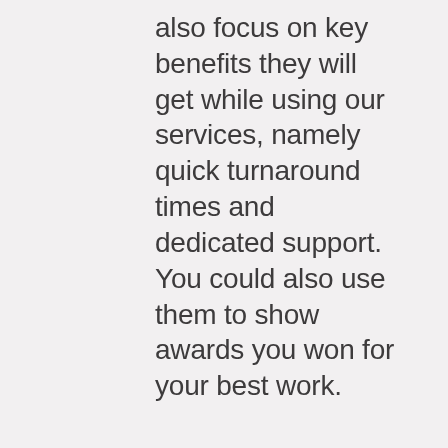also focus on key benefits they will get while using our services, namely quick turnaround times and dedicated support. You could also use them to show awards you won for your best work.